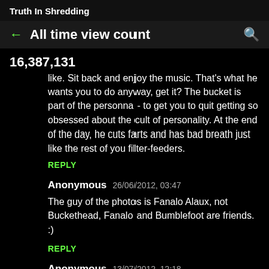Truth In Shredding
All time view count
16,387,131
like. Sit back and enjoy the music. That's what he wants you to do anyway, get it? The bucket is part of the personna - to get you to quit getting so obsessed about the cult of personality. At the end of the day, he cuts farts and has bad breath just like the rest of you filter-feeders.
REPLY
Anonymous  26/06/2012, 03:47
The guy of the photos is Fanalo Alaux, not Buckethead, Fanalo and Bumblefoot are friends. :)
REPLY
Anonymous  13/07/2012, 12:18